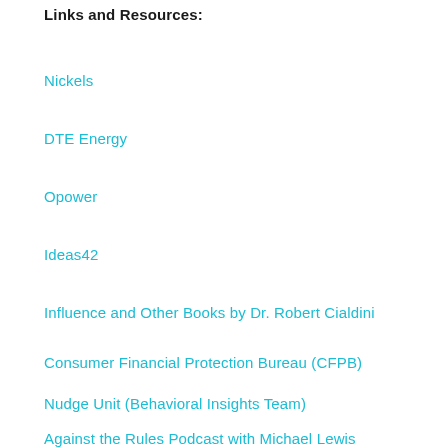Links and Resources:
Nickels
DTE Energy
Opower
Ideas42
Influence and Other Books by Dr. Robert Cialdini
Consumer Financial Protection Bureau (CFPB)
Nudge Unit (Behavioral Insights Team)
Against the Rules Podcast with Michael Lewis
100 Days of Rejection Therapy
Failure Games from Noah Kagan
LOB Episode 15: Let's Make Sauerkraut with Social Capital featuring David Klingenberger of The Brinery